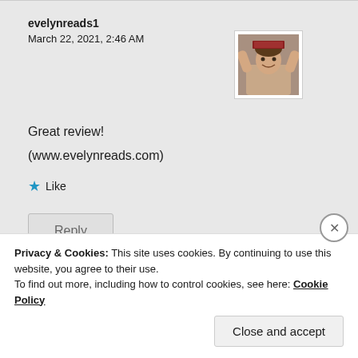evelynreads1
March 22, 2021, 2:46 AM
[Figure (photo): Avatar photo of a woman holding a book above her head, smiling]
Great review!
(www.evelynreads.com)
★ Like
Reply
Privacy & Cookies: This site uses cookies. By continuing to use this website, you agree to their use.
To find out more, including how to control cookies, see here: Cookie Policy
Close and accept